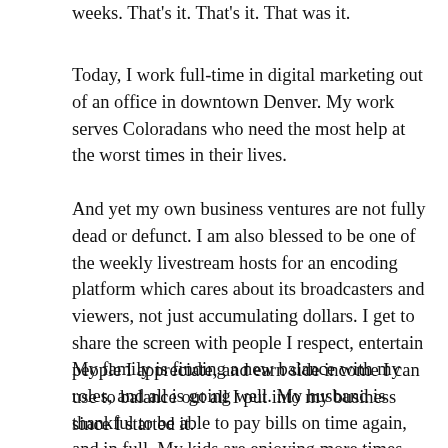weeks. That's it. That's it. That was it.
Today, I work full-time in digital marketing out of an office in downtown Denver. My work serves Coloradans who need the most help at the worst times in their lives.
And yet my own business ventures are not fully dead or defunct. I am also blessed to be one of the weekly livestream hosts for an encoding platform which cares about its broadcasters and viewers, not just accumulating dollars. I get to share the screen with people I respect, entertain people I appreciate, and earn side income I can use to balance out all I put into my business since I started it.
My family is finding a new balance with my roles, and all is going well. My husband is thankful to be able to pay bills on time again, and in full. My kids are enjoying more times when I'm able to play a random board game, take them